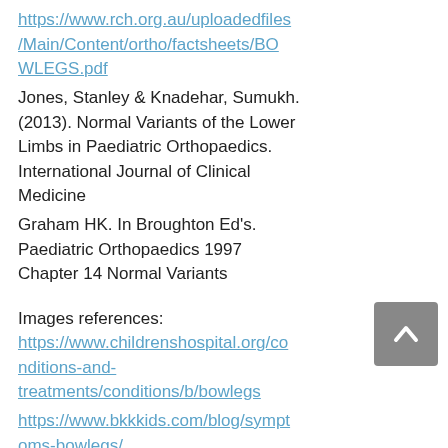https://www.rch.org.au/uploadedfiles/Main/Content/ortho/factsheets/BOWLEGS.pdf
Jones, Stanley & Knadehar, Sumukh. (2013). Normal Variants of the Lower Limbs in Paediatric Orthopaedics. International Journal of Clinical Medicine
Graham HK. In Broughton Ed's. Paediatric Orthopaedics 1997 Chapter 14 Normal Variants
Images references:
https://www.childrenshospital.org/conditions-and-treatments/conditions/b/bowlegs
https://www.bkkkids.com/blog/symptoms-bowlegs/